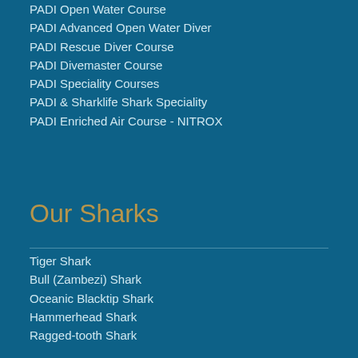PADI Open Water Course
PADI Advanced Open Water Diver
PADI Rescue Diver Course
PADI Divemaster Course
PADI Speciality Courses
PADI & Sharklife Shark Speciality
PADI Enriched Air Course - NITROX
Our Sharks
Tiger Shark
Bull (Zambezi) Shark
Oceanic Blacktip Shark
Hammerhead Shark
Ragged-tooth Shark